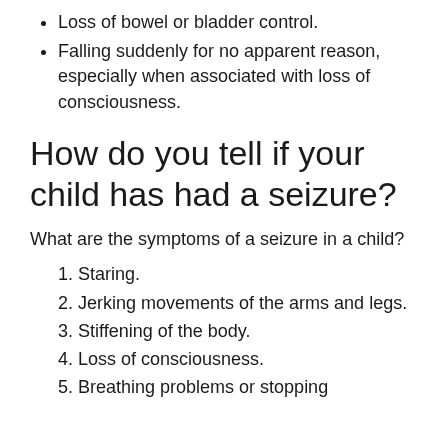Loss of bowel or bladder control.
Falling suddenly for no apparent reason, especially when associated with loss of consciousness.
How do you tell if your child has had a seizure?
What are the symptoms of a seizure in a child?
Staring.
Jerking movements of the arms and legs.
Stiffening of the body.
Loss of consciousness.
Breathing problems or stopping